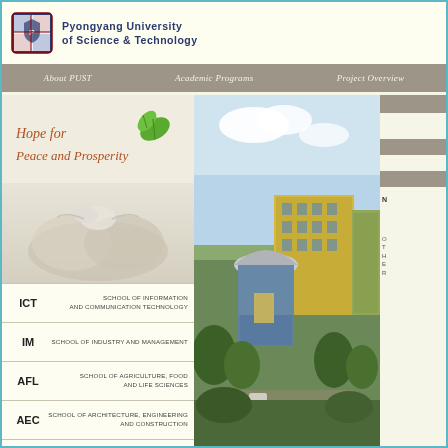[Figure (logo): Pyongyang University of Science and Technology shield logo]
Pyongyang University of Science & Technology
About PUST | Academic Programs | Project Overview
[Figure (illustration): Hope for Peace and Prosperity banner with green leaf and cupped hands]
[Figure (photo): Photo of Pyongyang University of Science and Technology campus buildings]
ICT   SCHOOL OF INFORMATION AND COMMUNICATION TECHNOLOGY
IM   SCHOOL OF INDUSTRY AND MANAGEMENT
AFL   SCHOOL OF AGRICULTURE, FOOD AND LIFE SCIENCES
AEC   SCHOOL OF ARCHITECTURE, ENGINEERING AND CONSTRUCTION
PH   SCHOOL OF PUBLIC HEALTHCARE